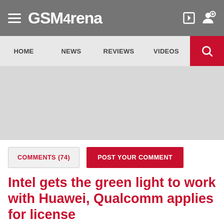GSMArena
HOME  NEWS  REVIEWS  VIDEOS
[Figure (other): Gray advertisement/banner placeholder area]
COMMENTS (74)  POST YOUR COMMENT
Intel gets the green light to work with Huawei, Qualcomm applies for license
23 SEPTEMBER 2020
AMD has reportedly filed for license as well.